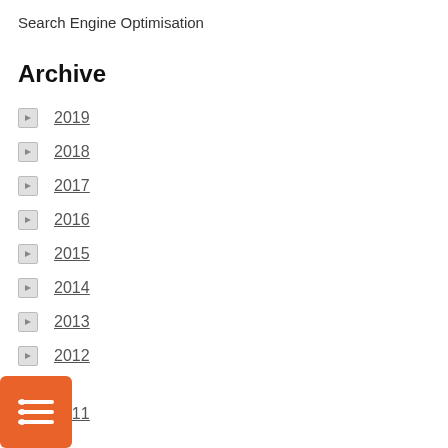Search Engine Optimisation
Archive
2019
2018
2017
2016
2015
2014
2013
2012
2011
[Figure (logo): Orange badge with a list/menu icon in white]